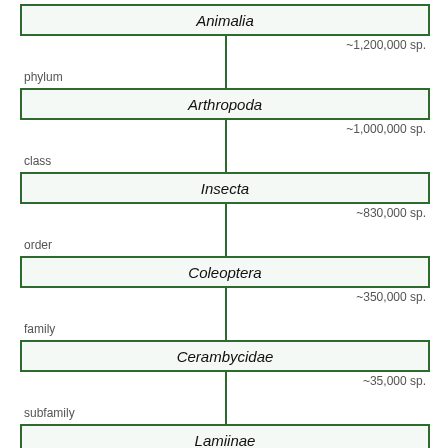[Figure (organizational-chart): Taxonomic classification hierarchy diagram showing: Animalia (kingdom, ~1,200,000 sp.) → Arthropoda (phylum, ~1,000,000 sp.) → Insecta (class, ~830,000 sp.) → Coleoptera (order, ~350,000 sp.) → Cerambycidae (family, ~35,000 sp.) → Lamiinae (subfamily, 20,213 sp.) → Mesosini (tribe, 619 sp.). Each taxon is in a bordered box with italic text. Connectors on the right side show species counts and rank labels on the left.]